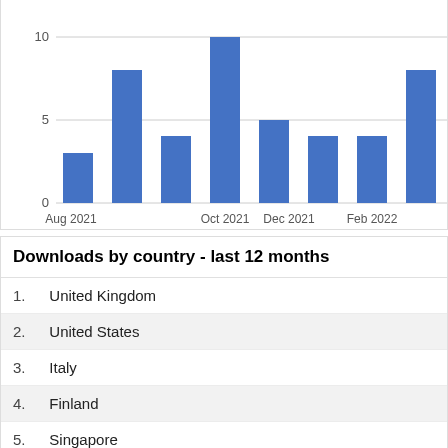[Figure (bar-chart): Downloads by month]
Downloads by country - last 12 months
1. United Kingdom
2. United States
3. Italy
4. Finland
5. Singapore
6. Spain
7. Luxembourg
8. China